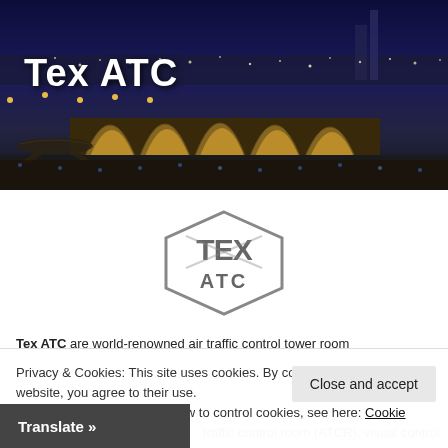[Figure (photo): Aerial night photo of an airport terminal with illuminated arched roof structures and aircraft on the tarmac, city lights in background]
Tex ATC
[Figure (logo): Tex ATC logo: hexagonal badge shape in gray with letters TEX on top and ATC on bottom]
Tex ATC are world-renowned air traffic control tower room
Privacy & Cookies: This site uses cookies. By continuing to use this website, you agree to their use.
To find out more, including how to control cookies, see here: Cookie Policy
Close and accept
Translate »
traffic control room (ATCR), visual control